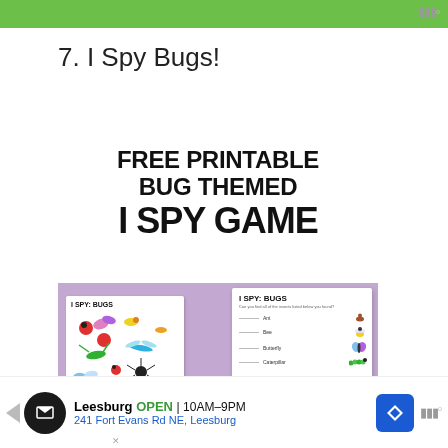7. I Spy Bugs!
[Figure (illustration): Promotional image for a free printable bug themed I Spy game. Top white area shows bold text 'FREE PRINTABLE BUG THEMED I SPY GAME'. Bottom purple area shows two white cards: one with 'I SPY: BUGS' and colorful bug illustrations grid, one with 'I SPY: BUGS' title and a list of bug names (Ant, Bee, Butterfly, Caterpillar) with bug icons.]
Leesburg  OPEN  10AM–9PM  241 Fort Evans Rd NE, Leesburg